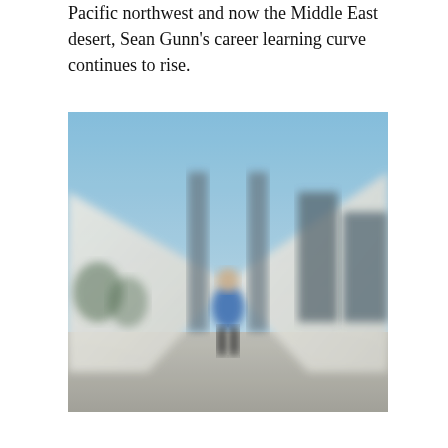Pacific northwest and now the Middle East desert, Sean Gunn's career learning curve continues to rise.
[Figure (photo): A blurred outdoor photo of a person standing in front of modern architectural structures with large white angular canopies or shade sails. The sky is blue. The person is wearing a blue shirt and dark pants.]